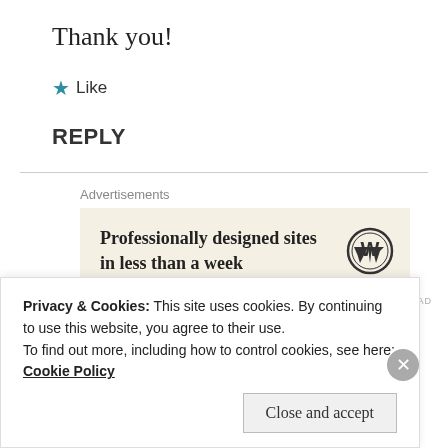Thank you!
★ Like
REPLY
Advertisements
[Figure (other): WordPress advertisement banner: 'Professionally designed sites in less than a week' with WordPress logo]
THOUGHT FOR CHANGE
Privacy & Cookies: This site uses cookies. By continuing to use this website, you agree to their use.
To find out more, including how to control cookies, see here: Cookie Policy
Close and accept